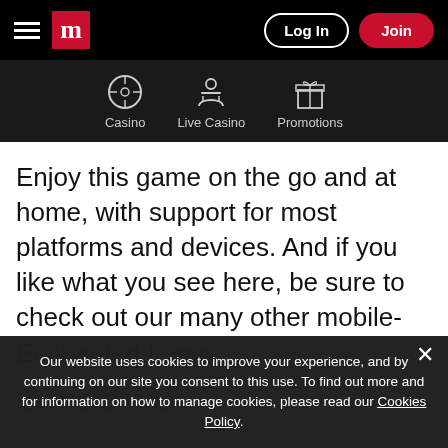Navigation bar with hamburger menu, M logo, Log In and Join buttons
[Figure (screenshot): Secondary navigation bar with Casino, Live Casino, and Promotions icons]
Enjoy this game on the go and at home, with support for most platforms and devices. And if you like what you see here, be sure to check out our many other mobile-friendly games, including Buffalo Blitz and Enchanted Lamp.
Our website uses cookies to improve your experience, and by continuing on our site you consent to this use. To find out more and for information on how to manage cookies, please read our Cookies Policy.
Conclusion
Mr. Cashback dollar bills